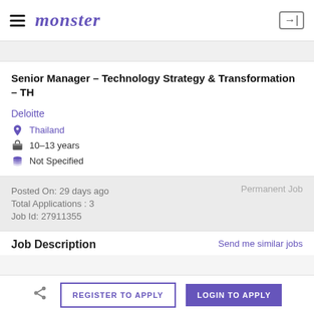monster
Senior Manager – Technology Strategy & Transformation – TH
Deloitte
Thailand
10–13 years
Not Specified
Posted On: 29 days ago
Total Applications : 3
Job Id: 27911355
Permanent Job
Job Description
Send me similar jobs
REGISTER TO APPLY
LOGIN TO APPLY